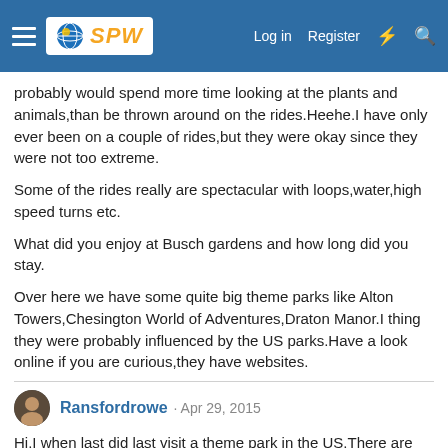SPW Log in Register
probably would spend more time looking at the plants and animals,than be thrown around on the rides.Heehe.I have only ever been on a couple of rides,but they were okay since they were not too extreme.
Some of the rides really are spectacular with loops,water,high speed turns etc.
What did you enjoy at Busch gardens and how long did you stay.
Over here we have some quite big theme parks like Alton Towers,Chesington World of Adventures,Draton Manor.I thing they were probably influenced by the US parks.Have a look online if you are curious,they have websites.
Ransfordrowe · Apr 29, 2015
Hi.I when last did last visit a theme park in the US.There are